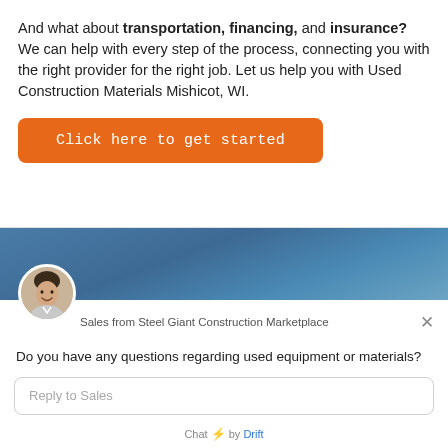And what about transportation, financing, and insurance? We can help with every step of the process, connecting you with the right provider for the right job. Let us help you with Used Construction Materials Mishicot, WI.
[Figure (screenshot): Orange button labeled 'Click here to get started']
[Figure (screenshot): Chat widget from Steel Giant Construction Marketplace with a sales agent avatar, question 'Do you have any questions regarding used equipment or materials?', a reply input field, and 'Chat by Drift' footer]